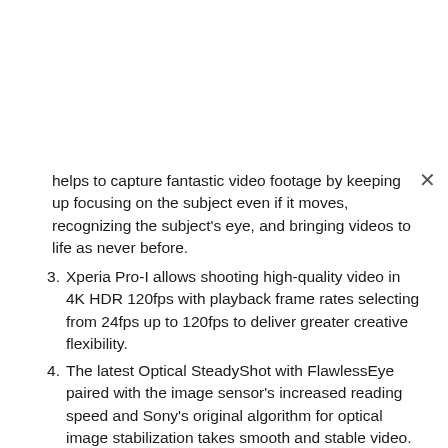helps to capture fantastic video footage by keeping up focusing on the subject even if it moves, recognizing the subject's eye, and bringing videos to life as never before.
3. Xperia Pro-I allows shooting high-quality video in 4K HDR 120fps with playback frame rates selecting from 24fps up to 120fps to deliver greater creative flexibility.
4. The latest Optical SteadyShot with FlawlessEye paired with the image sensor's increased reading speed and Sony's original algorithm for optical image stabilization takes smooth and stable video.
5. Xperia Pro-I packs a built-in monaural microphone allowing one to focus on recording speech clearly while other sounds remain in the background. Moreover, it features industry-leading audio separation technology for highly-effective wind filtering, both for stereo and monaural microphones.
6. The 1.0-type image sensor offers to make a film with